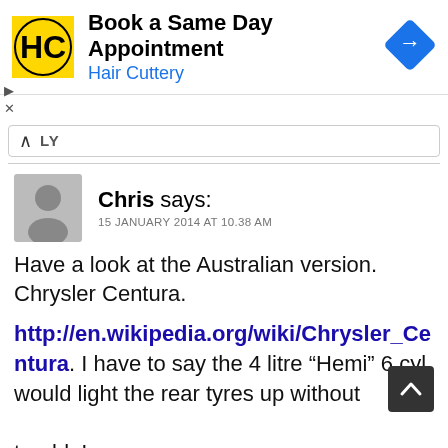[Figure (screenshot): Hair Cuttery advertisement banner with HC logo and 'Book a Same Day Appointment' text, plus a blue navigation arrow icon on the right]
Chris says:
15 JANUARY 2014 AT 10.38 AM
Have a look at the Australian version. Chrysler Centura.

http://en.wikipedia.org/wiki/Chrysler_Centura. I have to say the 4 litre “Hemi” 6 cyl would light the rear tyres up without trouble!